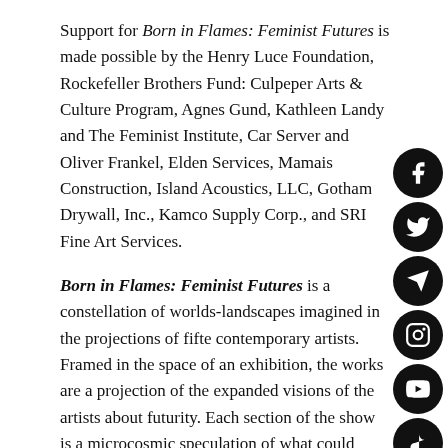Support for Born in Flames: Feminist Futures is made possible by the Henry Luce Foundation, Rockefeller Brothers Fund: Culpeper Arts & Culture Program, Agnes Gund, Kathleen Landy and The Feminist Institute, Car Server and Oliver Frankel, Elden Services, Mamais Construction, Island Acoustics, LLC, Gotham Drywall, Inc., Kamco Supply Corp., and SRI Fine Art Services.
Born in Flames: Feminist Futures is a constellation of worlds-landscapes imagined in the projections of fifteen contemporary artists. Framed in the space of an exhibition, the works are a projection of the expanded visions of the artists about futurity. Each section of the show is a microcosmic speculation of what could have been, what is, and what is to come. These worlds are steeped in the lessons of our complicated pasts, peppered with the ravages of oppression, but also flourishing joys. His works critically examine current